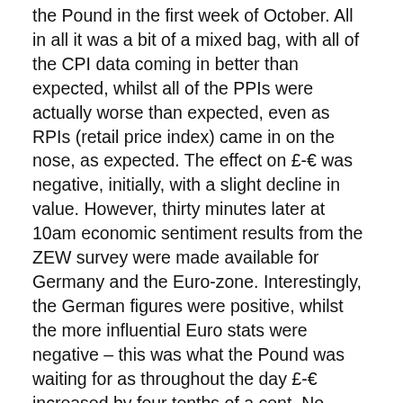the Pound in the first week of October. All in all it was a bit of a mixed bag, with all of the CPI data coming in better than expected, whilst all of the PPIs were actually worse than expected, even as RPIs (retail price index) came in on the nose, as expected. The effect on £-€ was negative, initially, with a slight decline in value. However, thirty minutes later at 10am economic sentiment results from the ZEW survey were made available for Germany and the Euro-zone. Interestingly, the German figures were positive, whilst the more influential Euro stats were negative – this was what the Pound was waiting for as throughout the day £-€ increased by four tenths of a cent. No further data of any great importance was forthcoming until last night, an hour after England had completed their successful World Cup qualifying campaign; at 22:45 with New Zealand's CPIs coming in at improved levels.
Today sees another key day for the Pound as we wait